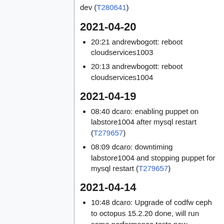dev (T280641)
2021-04-20
20:21 andrewbogott: reboot cloudservices1003
20:13 andrewbogott: reboot cloudservices1004
2021-04-19
08:40 dcaro: enabling puppet on labstore1004 after mysql restart (T279657)
08:09 dcaro: downtiming labstore1004 and stopping puppet for mysql restart (T279657)
2021-04-14
10:48 dcaro: Upgrade of codfw ceph to octopus 15.2.20 done, will run some performance tests now